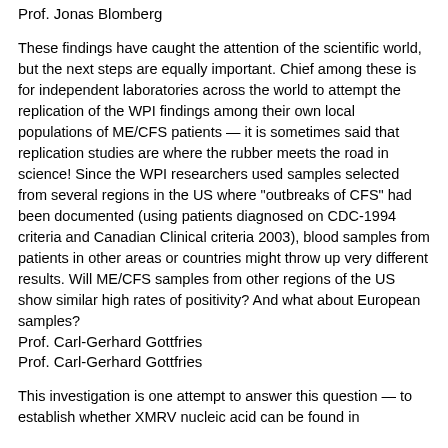Prof. Jonas Blomberg
These findings have caught the attention of the scientific world, but the next steps are equally important. Chief among these is for independent laboratories across the world to attempt the replication of the WPI findings among their own local populations of ME/CFS patients — it is sometimes said that replication studies are where the rubber meets the road in science! Since the WPI researchers used samples selected from several regions in the US where "outbreaks of CFS" had been documented (using patients diagnosed on CDC-1994 criteria and Canadian Clinical criteria 2003), blood samples from patients in other areas or countries might throw up very different results. Will ME/CFS samples from other regions of the US show similar high rates of positivity? And what about European samples?
Prof. Carl-Gerhard Gottfries
Prof. Carl-Gerhard Gottfries
This investigation is one attempt to answer this question — to establish whether XMRV nucleic acid can be found in